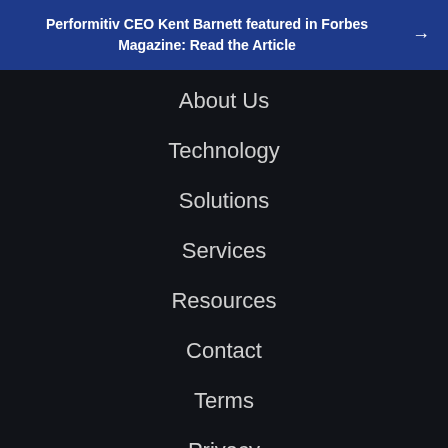Performitiv CEO Kent Barnett featured in Forbes Magazine: Read the Article →
About Us
Technology
Solutions
Services
Resources
Contact
Terms
Privacy
© 2022 Performitiv, Inc.